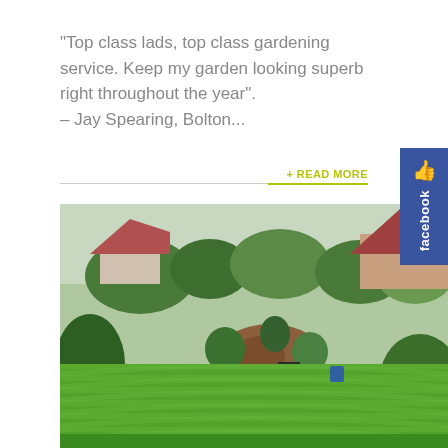“Top class lads, top class gardening service. Keep my garden looking superb right throughout the year”. – Jay Spearing, Bolton...
+ READ MORE
[Figure (photo): A well-maintained garden with neat striped lawn mowing patterns, surrounded by shrubs, flower beds, and trees, with a house visible in the background and a lawn mower in use.]